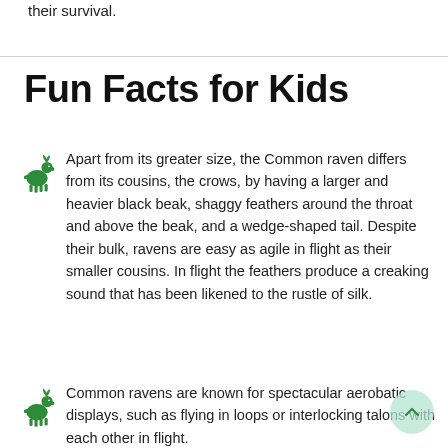their survival.
Fun Facts for Kids
Apart from its greater size, the Common raven differs from its cousins, the crows, by having a larger and heavier black beak, shaggy feathers around the throat and above the beak, and a wedge-shaped tail. Despite their bulk, ravens are easy as agile in flight as their smaller cousins. In flight the feathers produce a creaking sound that has been likened to the rustle of silk.
Common ravens are known for spectacular aerobatic displays, such as flying in loops or interlocking talons with each other in flight.